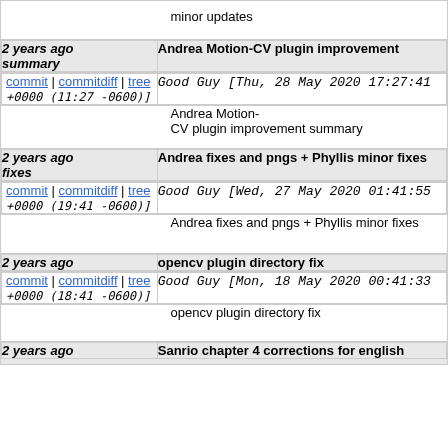minor updates
2 years ago summary | Andrea Motion-CV plugin improvement
commit | commitdiff | tree  Good Guy [Thu, 28 May 2020 17:27:41 +0000 (11:27 -0600)]
Andrea Motion-CV plugin improvement summary
2 years ago fixes | Andrea fixes and pngs + Phyllis minor fixes
commit | commitdiff | tree  Good Guy [Wed, 27 May 2020 01:41:55 +0000 (19:41 -0600)]
Andrea fixes and pngs + Phyllis minor fixes
2 years ago | opencv plugin directory fix
commit | commitdiff | tree  Good Guy [Mon, 18 May 2020 00:41:33 +0000 (18:41 -0600)]
opencv plugin directory fix
2 years ago | Sanrio chapter 4 corrections for english